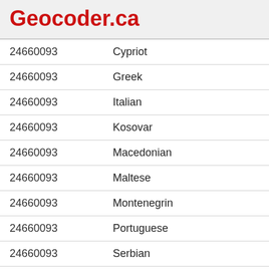Geocoder.ca
| ID | Ethnicity |
| --- | --- |
| 24660093 | Cypriot |
| 24660093 | Greek |
| 24660093 | Italian |
| 24660093 | Kosovar |
| 24660093 | Macedonian |
| 24660093 | Maltese |
| 24660093 | Montenegrin |
| 24660093 | Portuguese |
| 24660093 | Serbian |
| 24660093 | Sicilian |
| 24660093 | Slovenian |